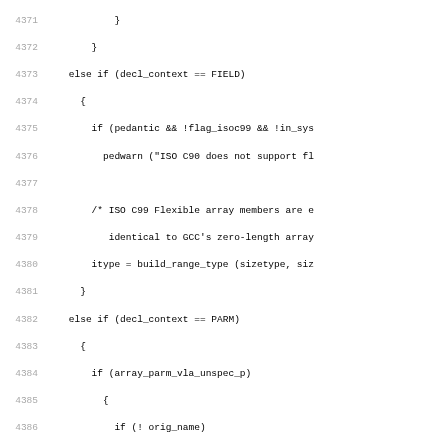Source code listing lines 4371-4402 showing C code with decl_context checks for FIELD, PARM, and TYPENAME conditions